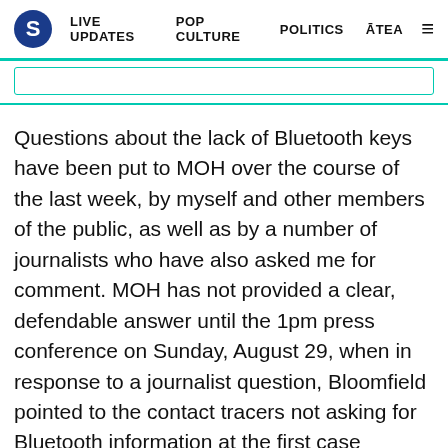S  LIVE UPDATES  POP CULTURE  POLITICS  ĀTEA  ≡
Questions about the lack of Bluetooth keys have been put to MOH over the course of the last week, by myself and other members of the public, as well as by a number of journalists who have also asked me for comment. MOH has not provided a clear, defendable answer until the 1pm press conference on Sunday, August 29, when in response to a journalist question, Bloomfield pointed to the contact tracers not asking for Bluetooth information at the first case interview due to the number of cases, and also the demographic groups of the cases being less likely to use BT. He